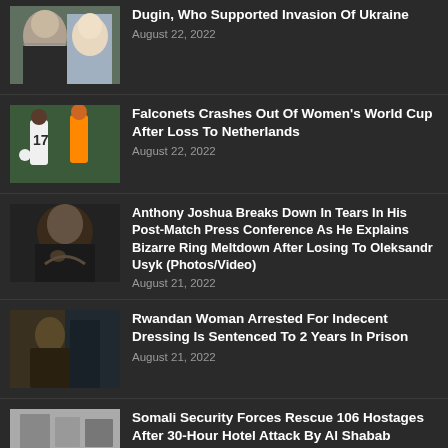Dugin, Who Supported Invasion Of Ukraine | August 22, 2022
Falconets Crashes Out Of Women's World Cup After Loss To Netherlands | August 22, 2022
Anthony Joshua Breaks Down In Tears In His Post-Match Press Conference As He Explains Bizarre Ring Meltdown After Losing To Oleksandr Usyk (Photos/Video) | August 21, 2022
Rwandan Woman Arrested For Indecent Dressing Is Sentenced To 2 Years In Prison | August 21, 2022
Somali Security Forces Rescue 106 Hostages After 30-Hour Hotel Attack By Al Shabab Terrorists Which 20 People Were Killed